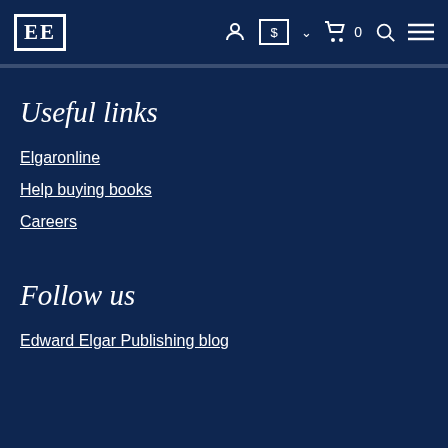EE [logo] — navigation icons: account, currency ($), cart (0), search, menu
Useful links
Elgaronline
Help buying books
Careers
Follow us
Edward Elgar Publishing blog